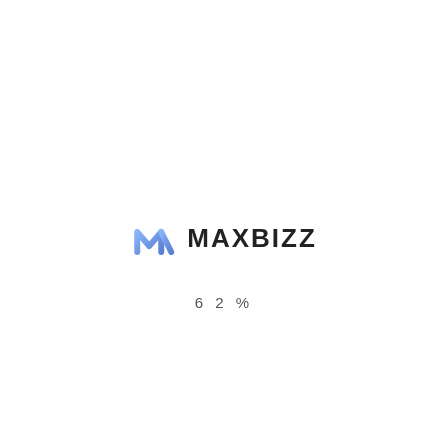[Figure (logo): MAXBIZZ logo with a blue stylized M icon followed by the text MAXBIZZ in bold dark letters]
62%